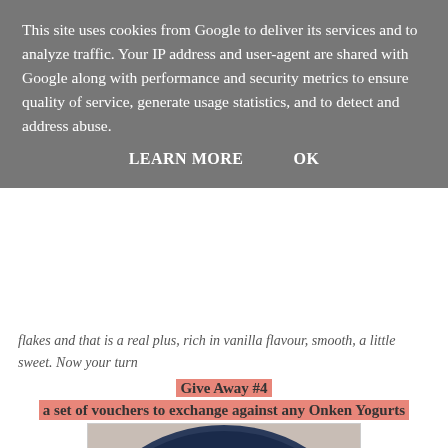flakes and that is a real plus, rich in vanilla flavour, smooth, a little sweet. Now your turn
Give Away #4
a set of vouchers to exchange against any Onken Yogurts
[Figure (photo): Close-up photo of a bowl of yogurt with dark spots (blueberries or chocolate chips) swirled into creamy white yogurt, served in a decorative dark blue and white patterned bowl.]
This site uses cookies from Google to deliver its services and to analyze traffic. Your IP address and user-agent are shared with Google along with performance and security metrics to ensure quality of service, generate usage statistics, and to detect and address abuse.
LEARN MORE   OK